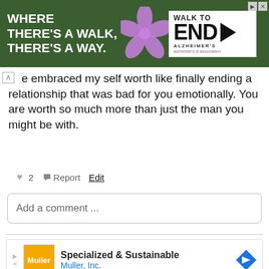[Figure (screenshot): Advertisement banner: green background with white bold text 'WHERE THERE'S A WALK, THERE'S A WAY.' and a purple flower graphic, with 'WALK TO END ALZHEIMER'S' logo on the right side on white background.]
e embraced my self worth  like finally ending a relationship that was bad for you emotionally. You are worth so much more than just the man you might be with.
♥ 2   🚩 Report   Edit
Add a comment ...
[Figure (screenshot): Advertisement for Muller, Inc.: orange Muller logo box, text 'Specialized & Sustainable' in bold and 'Muller, Inc.' in blue, blue diamond arrow icon on right.]